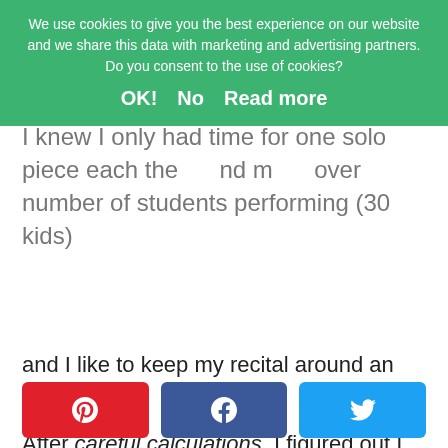I knew I only had time for one solo piece each the year as I had more over number of students performing (30 kids) and I like to keep my recital around an hour long.
After careful calculations, I figured out I could have each student play twice with some doing a duet and some doing a Safari piece (explained below).
We use cookies to give you the best experience on our website and we share this data with marketing and advertising partners. Do you consent to the use of cookies?
OK!    No    Read more
[Figure (screenshot): Social share buttons: Pinterest (red), Facebook (blue), Twitter (light blue)]